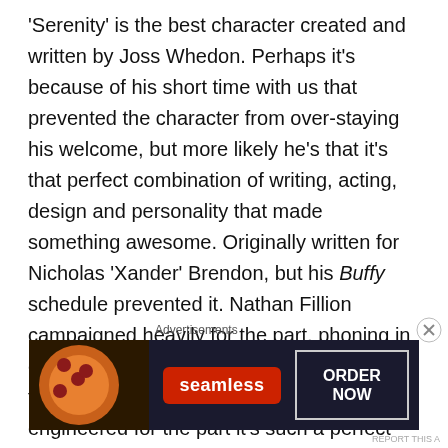'Serenity' is the best character created and written by Joss Whedon. Perhaps it's because of his short time with us that prevented the character from over-staying his welcome, but more likely he's that it's that perfect combination of writing, acting, design and personality that made something awesome. Originally written for Nicholas 'Xander' Brendon, but his Buffy schedule prevented it. Nathan Fillion campaigned heavily for the part, phoning in on a daily basis, leading to his casting in his first lead. He could've been genetically engineered for the part it's such a perfect marriage of performer and part. Garbed in a brown duster and sporting a steampunk style six-shooter, he's an immensely cool character.
Advertisements
[Figure (photo): Advertisement banner for Seamless food ordering service. Left side shows pizza slices, center has the Seamless logo in red, right side has 'ORDER NOW' text in a white border box on dark background.]